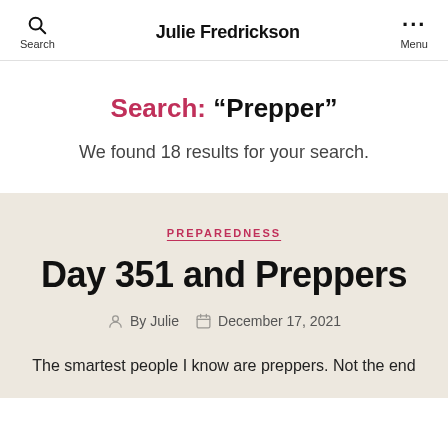Search  Julie Fredrickson  Menu
Search: “Prepper”
We found 18 results for your search.
PREPAREDNESS
Day 351 and Preppers
By Julie  December 17, 2021
The smartest people I know are preppers. Not the end